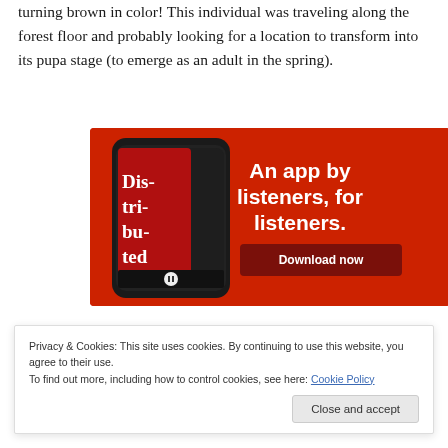turning brown in color! This individual was traveling along the forest floor and probably looking for a location to transform into its pupa stage (to emerge as an adult in the spring).
[Figure (photo): Advertisement for a podcast app — red background with a smartphone showing 'Dis-tri-bu-ted' podcast app, text reads 'An app by listeners, for listeners.' with a 'Download now' button.]
Privacy & Cookies: This site uses cookies. By continuing to use this website, you agree to their use.
To find out more, including how to control cookies, see here: Cookie Policy
Close and accept